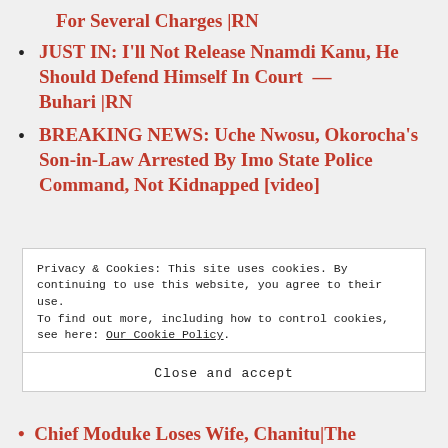For Several Charges |RN
JUST IN: I'll Not Release Nnamdi Kanu, He Should Defend Himself In Court — Buhari |RN
BREAKING NEWS: Uche Nwosu, Okorocha's Son-in-Law Arrested By Imo State Police Command, Not Kidnapped [video]
Privacy & Cookies: This site uses cookies. By continuing to use this website, you agree to their use.
To find out more, including how to control cookies, see here: Our Cookie Policy
Close and accept
Chief Moduke Loses Wife, Chanitu|The